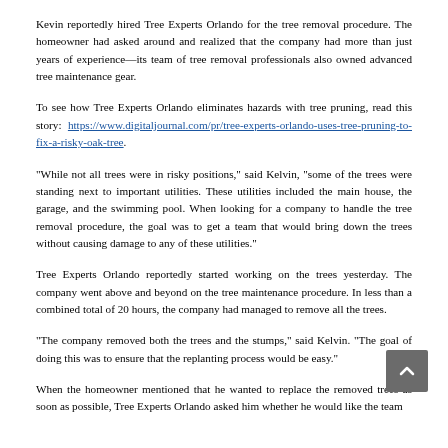Kevin reportedly hired Tree Experts Orlando for the tree removal procedure. The homeowner had asked around and realized that the company had more than just years of experience—its team of tree removal professionals also owned advanced tree maintenance gear.
To see how Tree Experts Orlando eliminates hazards with tree pruning, read this story: https://www.digitaljournal.com/pr/tree-experts-orlando-uses-tree-pruning-to-fix-a-risky-oak-tree.
"While not all trees were in risky positions," said Kelvin, "some of the trees were standing next to important utilities. These utilities included the main house, the garage, and the swimming pool. When looking for a company to handle the tree removal procedure, the goal was to get a team that would bring down the trees without causing damage to any of these utilities."
Tree Experts Orlando reportedly started working on the trees yesterday. The company went above and beyond on the tree maintenance procedure. In less than a combined total of 20 hours, the company had managed to remove all the trees.
"The company removed both the trees and the stumps," said Kelvin. "The goal of doing this was to ensure that the replanting process would be easy."
When the homeowner mentioned that he wanted to replace the removed trees as soon as possible, Tree Experts Orlando asked him whether he would like the team